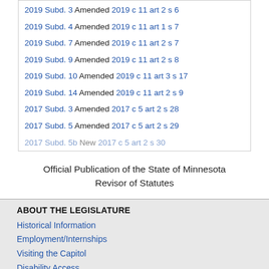2019 Subd. 3 Amended 2019 c 11 art 2 s 6
2019 Subd. 4 Amended 2019 c 11 art 1 s 7
2019 Subd. 7 Amended 2019 c 11 art 2 s 7
2019 Subd. 9 Amended 2019 c 11 art 2 s 8
2019 Subd. 10 Amended 2019 c 11 art 3 s 17
2019 Subd. 14 Amended 2019 c 11 art 2 s 9
2017 Subd. 3 Amended 2017 c 5 art 2 s 28
2017 Subd. 5 Amended 2017 c 5 art 2 s 29
2017 Subd. 5b New 2017 c 5 art 2 s 30
Official Publication of the State of Minnesota
Revisor of Statutes
ABOUT THE LEGISLATURE
Historical Information
Employment/Internships
Visiting the Capitol
Disability Access
Frequently Asked Questions